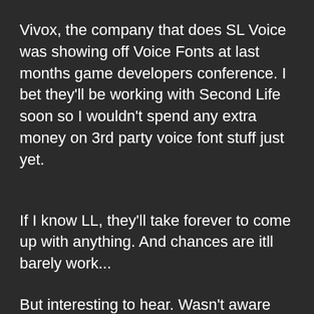Vivox, the company that does SL Voice was showing off Voice Fonts at last months game developers conference. I bet they'll be working with Second Life soon so I wouldn't spend any extra money on 3rd party voice font stuff just yet.
If I know LL, they'll take forever to come up with anything. And chances are itll barely work...
But interesting to hear. Wasn't aware Vivox was gonna make Voice Fonts.
Aeval Okelly
Registered User